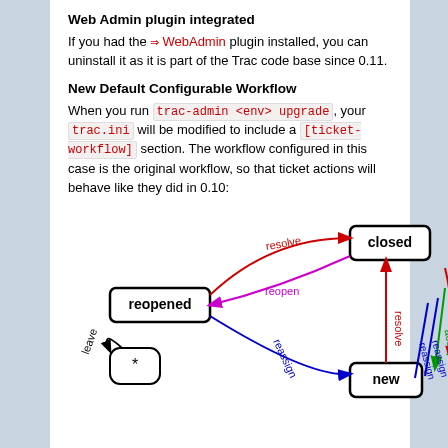Web Admin plugin integrated
If you had the ⇒ WebAdmin plugin installed, you can uninstall it as it is part of the Trac code base since 0.11.
New Default Configurable Workflow
When you run trac-admin <env> upgrade , your trac.ini will be modified to include a [ticket-workflow] section. The workflow configured in this case is the original workflow, so that ticket actions will behave like they did in 0.10:
[Figure (flowchart): State diagram showing ticket workflow states: reopened, closed, new, and a wildcard (*) state. Arrows labeled with actions: resolve (red/magenta), reopen (magenta), reassign (blue), leave (black), accept (green).]